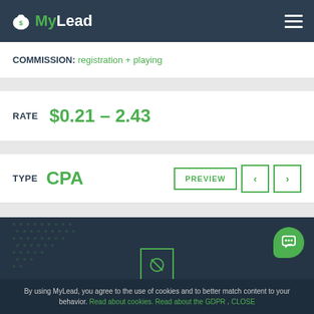MyLead
Commission: registration + playing
RATE $0.21 - 2.43
TYPE CPA
[Figure (screenshot): Dark teal background with dotted halftone pattern, a green chat bubble button in bottom right, and a green-bordered icon placeholder in center bottom]
By using MyLead, you agree to the use of cookies and to better match content to your behavior. Read about cookies. Read about the GDPR . CLOSE